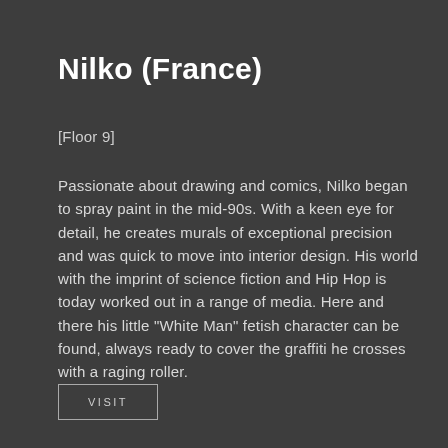Nilko (France)
[Floor 9]
Passionate about drawing and comics, Nilko began to spray paint in the mid-90s. With a keen eye for detail, he creates murals of exceptional precision and was quick to move into interior design. His world with the imprint of science fiction and Hip Hop is today worked out in a range of media. Here and there his little "White Man" fetish character can be found, always ready to cover the graffiti he crosses with a raging roller.
VISIT